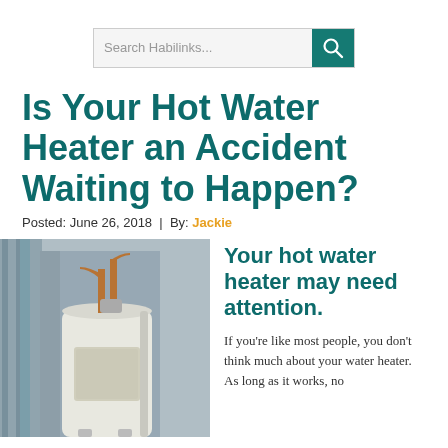[Figure (screenshot): Search bar with placeholder text 'Search Habilinks...' and a teal search button with magnifying glass icon]
Is Your Hot Water Heater an Accident Waiting to Happen?
Posted: June 26, 2018  |  By: Jackie
[Figure (photo): Photo of a white water heater tank with copper pipes, standing against a gray cabinet/wall]
Your hot water heater may need attention.
If you're like most people, you don't think much about your water heater. As long as it works, no